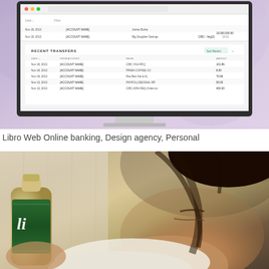[Figure (screenshot): Screenshot of Libro Web Online banking interface displayed on an iMac-style monitor. Shows a 'Recent Transfers' section with a table listing dates (Nov 18, 2013 etc.), account names, descriptions, and amounts. The background has purple/pink tones.]
Libro Web Online banking, Design agency, Personal
[Figure (photo): Close-up photo of a person with dark hair looking down, holding a bottle with a green label showing partial text. Warm/beige background tones.]